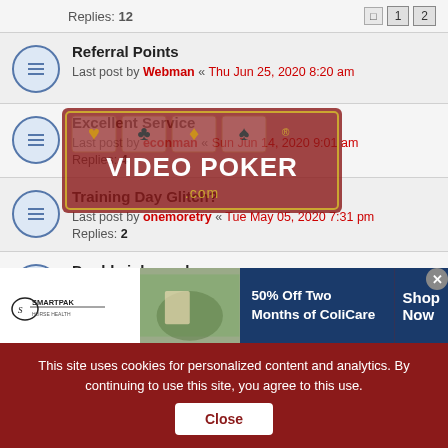Replies: 12 | pages 1 2
Referral Points
Last post by Webman « Thu Jun 25, 2020 8:20 am
Excellent Service
Last post by econman « Sun Jun 14, 2020 9:01 am
Replies: 4
Training Day Glitch?
Last post by onemoretry « Tue May 05, 2020 7:31 pm
Replies: 2
Double joker poker
Last post by johnnyc404 « Sat Apr 18, 2020 2:01 pm
WAY TO GO WEBDUDE!!
Last post by nomadgurl « Tue Feb 18, 2020 6:22 am
Replies: 6
"Win" comment
Last post by Webman « Fri Feb 14, 2020 11:23 am
[Figure (logo): Video Poker .com watermark logo with card suit icons]
[Figure (infographic): SmartPak advertisement banner - 50% Off Two Months of ColiCare, Shop Now]
This site uses cookies for personalized content and analytics. By continuing to use this site, you agree to this use. Close